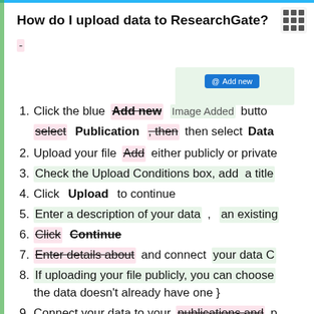How do I upload data to ResearchGate?
-
[Figure (screenshot): Blue 'Add new' button on ResearchGate interface with green highlighted area]
1. Click the blue Add new [Image Added] button
select Publication , then  then select Data
2. Upload your file Add  either publicly or privately
3. Check the Upload Conditions box, add  a title
4. Click  Upload  to continue
5. Enter a description of your data ,  an existing
6. Click  Continue
7. Enter details about  and connect  your data C
8. If uploading your file publicly, you can choose  the data doesn't already have one }
9. Connect your data to your  publications and  p
10. Click  Finish  to confirm